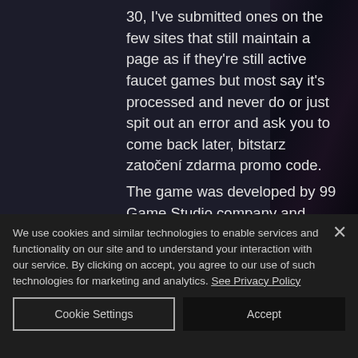30, I've submitted ones on the few sites that still maintain a page as if they're still active faucet games but most say it's processed and never do or just spit out an error and ask you to come back later, bitstarz zatočení zdarma promo code.
The game was developed by 99 Game Studio company and released in September 2018. It can be played on the PC only when you purchase it. The game can be played only in English or Chinese, bitstarz 17 no deposit free spins.
We use cookies and similar technologies to enable services and functionality on our site and to understand your interaction with our service. By clicking on accept, you agree to our use of such technologies for marketing and analytics. See Privacy Policy
Cookie Settings
Accept